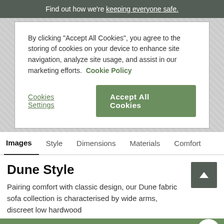Find out how we're keeping everyone safe.
By clicking “Accept All Cookies”, you agree to the storing of cookies on your device to enhance site navigation, analyze site usage, and assist in our marketing efforts. Cookie Policy
Cookies Settings
Accept All Cookies
Images  Style  Dimensions  Materials  Comfort
Dune Style
Pairing comfort with classic design, our Dune fabric sofa collection is characterised by wide arms, discreet low hardwood
Add to basket
button and features a power headrest for the ultimate lounge